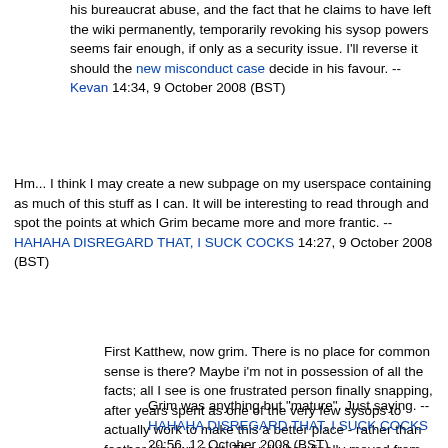his bureaucrat abuse, and the fact that he claims to have left the wiki permanently, temporarily revoking his sysop powers seems fair enough, if only as a security issue. I'll reverse it should the new misconduct case decide in his favour. --Kevan 14:34, 9 October 2008 (BST)
Hm... I think I may create a new subpage on my userspace containing as much of this stuff as I can. It will be interesting to read through and spot the points at which Grim became more and more frantic. --HAHAHA DISREGARD THAT, I SUCK COCKS 14:27, 9 October 2008 (BST)
First Katthew, now grim. There is no place for common sense is there? Maybe i'm not in possession of all the facts; all I see is one frustrated person finally snapping, after years spent as one of the very few sysops to actually work to make this a better place - rather than feather his own nest. The wiki has finally moved from being a source of information to some kind of passive-aggressive, UD version of Facebook. I'd rather have one person capable of making a mature decisions, unafraid to step on a few toes and deflate a few egos, than a gaggle of preening children. Disappointing. --Keith Drudgely 17:58, 12 October 2008 (BST)
Grim was anything but "mature". Just saying. --HAHAHA DISREGARD THAT, I SUCK COCKS 20:56, 12 October 2008 (BST)
you should talk, cyberbob... actually, i do think grim was